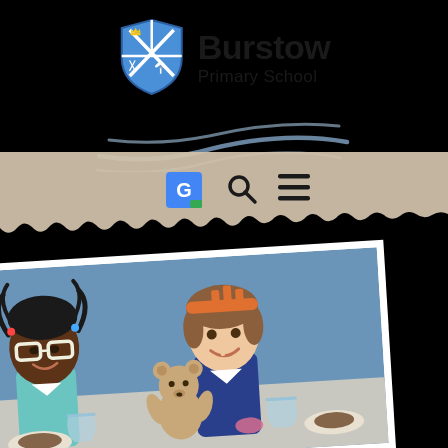[Figure (logo): Burstow Primary School logo with blue shield crest and school name]
[Figure (illustration): Decorative swoosh/wave lines in grey-blue below the school logo]
[Figure (illustration): Navigation icons: Google Translate icon, search magnifying glass, and hamburger menu on torn paper background]
[Figure (photo): Polaroid-style photo of two children at a table with a teddy bear, wearing novelty glasses and a headband, with food/drinks on the table]